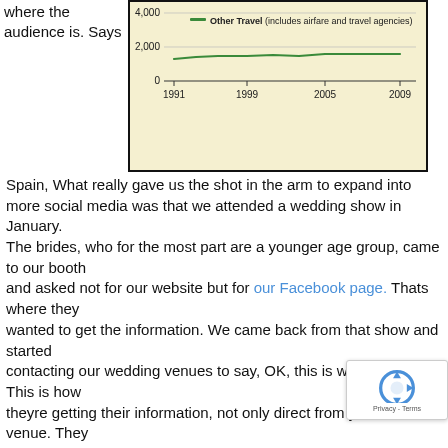where the audience is.
[Figure (line-chart): Other Travel (includes airfare and travel agencies)]
Says Spain, What really gave us the shot in the arm to expand into more social media was that we attended a wedding show in January.
The brides, who for the most part are a younger age group, came to our booth
and asked not for our website but for our Facebook page. Thats where they
wanted to get the information. We came back from that show and started
contacting our wedding venues to say, OK, this is what they want. This is how
theyre getting their information, not only direct from you as a venue. They
want to see comments that other clients are posting to your Facebook pages.
At the same time, the bureau is seeing a long-term decline in visits to its